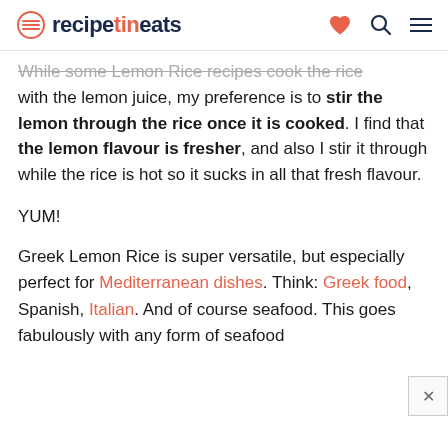recipetineats
While some Lemon Rice recipes cook the rice with the lemon juice, my preference is to stir the lemon through the rice once it is cooked. I find that the lemon flavour is fresher, and also I stir it through while the rice is hot so it sucks in all that fresh flavour.
YUM!
Greek Lemon Rice is super versatile, but especially perfect for Mediterranean dishes. Think: Greek food, Spanish, Italian. And of course seafood. This goes fabulously with any form of seafood